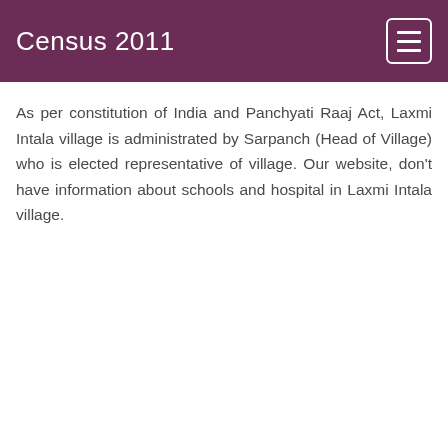Census 2011
As per constitution of India and Panchyati Raaj Act, Laxmi Intala village is administrated by Sarpanch (Head of Village) who is elected representative of village. Our website, don't have information about schools and hospital in Laxmi Intala village.